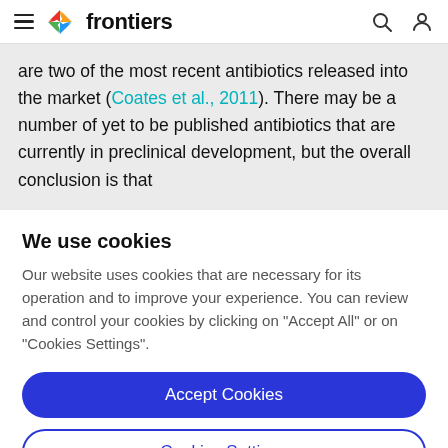frontiers
are two of the most recent antibiotics released into the market (Coates et al., 2011). There may be a number of yet to be published antibiotics that are currently in preclinical development, but the overall conclusion is that
We use cookies
Our website uses cookies that are necessary for its operation and to improve your experience. You can review and control your cookies by clicking on "Accept All" or on "Cookies Settings".
Accept Cookies
Cookies Settings